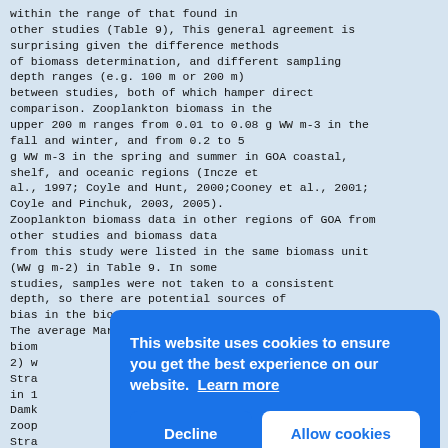within the range of that found in
other studies (Table 9), This general agreement is
surprising given the difference methods
of biomass determination, and different sampling
depth ranges (e.g. 100 m or 200 m)
between studies, both of which hamper direct
comparison. Zooplankton biomass in the
upper 200 m ranges from 0.01 to 0.08 g WW m-3 in the
fall and winter, and from 0.2 to 5
g WW m-3 in the spring and summer in GOA coastal,
shelf, and oceanic regions (Incze et
al., 1997; Coyle and Hunt, 2000;Cooney et al., 2001;
Coyle and Pinchuk, 2003, 2005).
Zooplankton biomass data in other regions of GOA from
other studies and biomass data
from this study were listed in the same biomass unit
(WW g m-2) in Table 9. In some
studies, samples were not taken to a consistent
depth, so there are potential sources of
bias in the biomass information provided in Table 9.
The average March zooplankton
biom
2) w
Stra
in 1
Damk
zoop
Stra
et a
stud
nort
1999 (18.5 g WW m-2; Coyle and Pinchuk, 2003). While
differences among zooplankton
Cookie consent overlay: This website uses cookies to ensure you get the best experience on our website. [Learn more] [Decline] [Allow cookies]